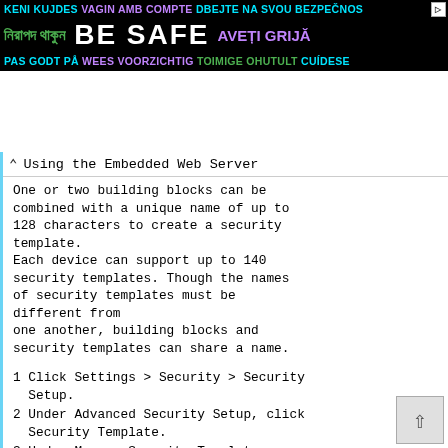[Figure (infographic): Safety banner ad with multilingual 'BE SAFE' text in multiple languages including Albanian, Bengali, French/Danish, English, Czech/Serbian, Romanian, Dutch, Estonian, Spanish on black background]
Using the Embedded Web Server
One or two building blocks can be combined with a unique name of up to 128 characters to create a security template.
Each device can support up to 140 security templates. Though the names of security templates must be different from one another, building blocks and security templates can share a name.
1 Click Settings > Security > Security Setup.
2 Under Advanced Security Setup, click Security Template.
3 Under Manage Security Templates, click Add a Security Template.